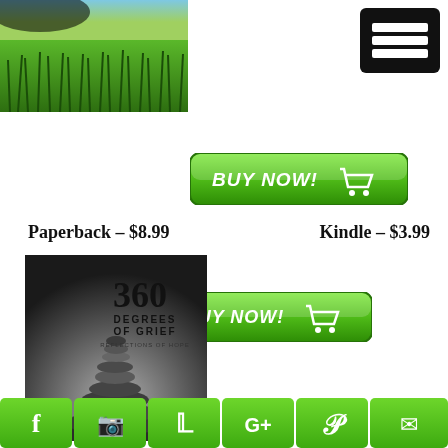[Figure (photo): Book cover photo showing green grass with blue sky, partial view]
[Figure (other): Black hamburger/menu icon button with three white horizontal lines on black rounded square background]
[Figure (other): Green BUY NOW button with shopping cart icon]
Paperback – $8.99
Kindle – $3.99
[Figure (other): Green BUY NOW button with shopping cart icon (second, for Kindle)]
[Figure (photo): Book cover for '360 Degrees of Grief: Reflections of Hope' showing stacked dark stones on a dark/grey background]
[Figure (other): Social media sharing bar with green buttons: Facebook (f), Facebook (C logo), Twitter, Google+, Pinterest, Email, Crown/Bloglovin icons]